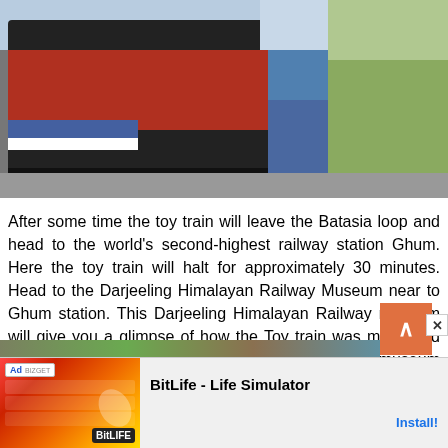[Figure (photo): Photo of a red toy train/locomotive with a person in blue jacket and jeans standing next to it, with fields and greenery visible in the background]
After some time the toy train will leave the Batasia loop and head to the world's second-highest railway station Ghum. Here the toy train will halt for approximately 30 minutes. Head to the Darjeeling Himalayan Railway Museum near to Ghum station. This Darjeeling Himalayan Railway museum will give you a glimpse of how the Toy train was made and small snippets on the history of the railways. The museum houses few original photographs of the construction. Don't miss this Darjeeling Toy Train Museum.
[Figure (photo): Partially visible photo at the bottom of the page]
[Figure (other): Advertisement banner: BitLife - Life Simulator app ad with Install button]